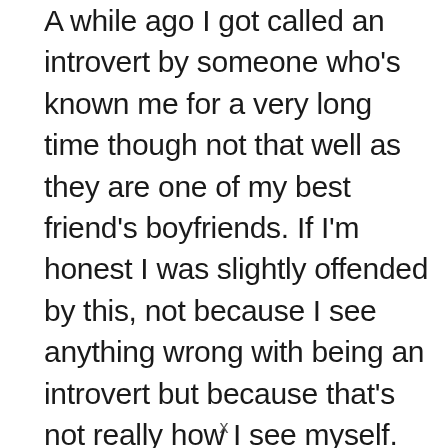A while ago I got called an introvert by someone who's known me for a very long time though not that well as they are one of my best friend's boyfriends. If I'm honest I was slightly offended by this, not because I see anything wrong with being an introvert but because that's not really how I see myself. Yes, I can be quiet and I can come across reserved or shy. But if I have a positive feeling about you then I'll be one of the chattiest and open people you can meet from the get go. My reservation is me observing the situation and the people involved, seeing what I can contribute and in reality, sometimes I'll sit back into and not go with it if I don't feel ill
x